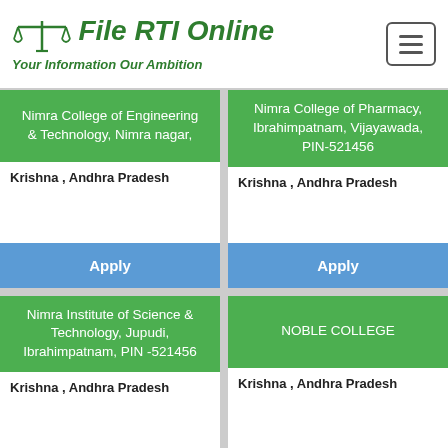File RTI Online — Your Information Our Ambition
Nimra College of Engineering & Technology, Nimra nagar,
Krishna , Andhra Pradesh
Nimra College of Pharmacy, Ibrahimpatnam, Vijayawada, PIN-521456
Krishna , Andhra Pradesh
Apply
Apply
Nimra Institute of Science & Technology, Jupudi, Ibrahimpatnam, PIN -521456
Krishna , Andhra Pradesh
NOBLE COLLEGE
Krishna , Andhra Pradesh